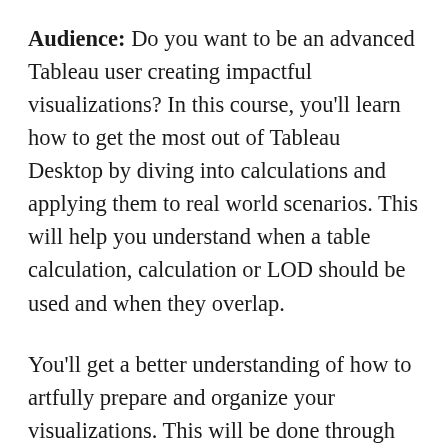Audience: Do you want to be an advanced Tableau user creating impactful visualizations? In this course, you'll learn how to get the most out of Tableau Desktop by diving into calculations and applying them to real world scenarios. This will help you understand when a table calculation, calculation or LOD should be used and when they overlap.
You'll get a better understanding of how to artfully prepare and organize your visualizations. This will be done through specific scenarios around analyzing time, geographic, and survey data. By the end of this course you'll have a better grasp of advanced building techniques and calculations for creating innovative analysis and dashboards.